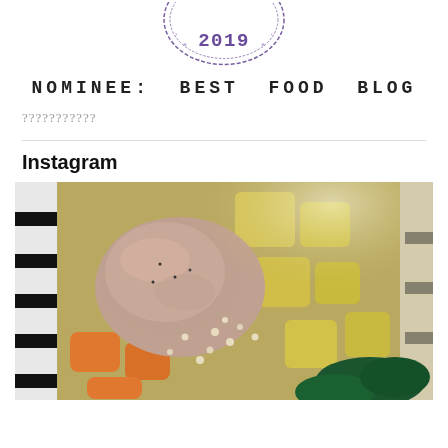[Figure (logo): Circular stamp/badge logo with '2019' text in purple typewriter-style font, partially visible at top]
NOMINEE:  BEST  FOOD  BLOG
???????????
[Figure (photo): Close-up photo of a chicken and vegetable stew/soup in a bowl, featuring chicken pieces, diced potatoes (yellow), carrots (orange), barley or small grains, and dark leafy greens, in a light broth]